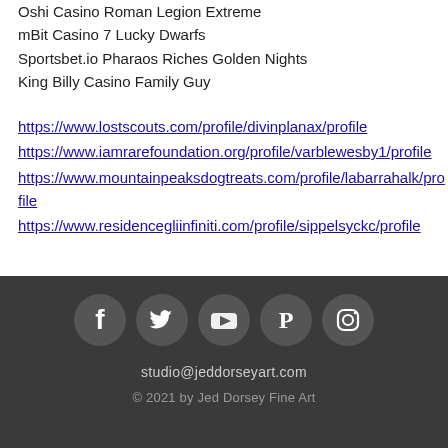Oshi Casino Roman Legion Extreme
mBit Casino 7 Lucky Dwarfs
Sportsbet.io Pharaos Riches Golden Nights
King Billy Casino Family Guy
https://www.lostscouts.com/profile/divinplanax/profile
https://www.iamrarefoundation.org/profile/varblewesby1/profile
https://www.mountainpeaksdogtreats.com/profile/labarrahalk/profile
https://www.residencegliinfiniti.com/profile/sippelsyckc/profile
studio@jeddorseyart.com
© 2021 by Jed Dorsey Fine Art